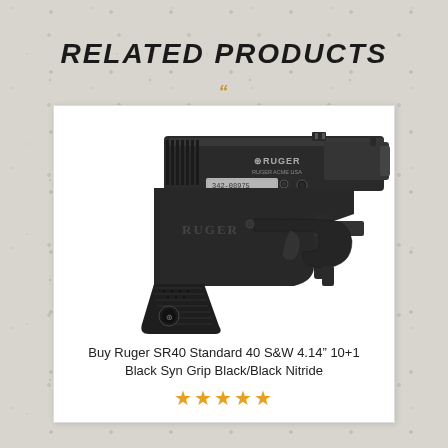RELATED PRODUCTS
[Figure (photo): Close-up photo of a Ruger SR40 semi-automatic pistol showing the grip, trigger guard, frame markings, and slide. The pistol is black with 'RUGER' text on the grip and Ruger logo on the slide.]
Buy Ruger SR40 Standard 40 S&W 4.14" 10+1 Black Syn Grip Black/Black Nitride
[Figure (other): Five gold/orange filled star rating icons]